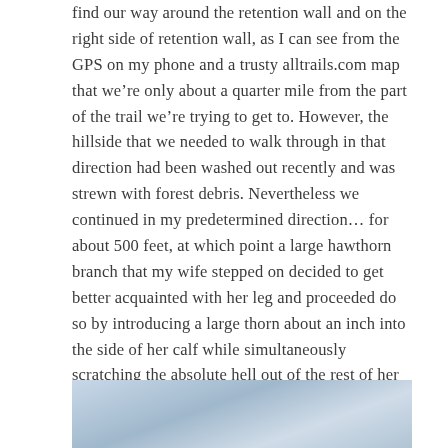find our way around the retention wall and on the right side of retention wall, as I can see from the GPS on my phone and a trusty alltrails.com map that we’re only about a quarter mile from the part of the trail we’re trying to get to. However, the hillside that we needed to walk through in that direction had been washed out recently and was strewn with forest debris. Nevertheless we continued in my predetermined direction… for about 500 feet, at which point a large hawthorn branch that my wife stepped on decided to get better acquainted with her leg and proceeded do so by introducing a large thorn about an inch into the side of her calf while simultaneously scratching the absolute hell out of the rest of her leg. Que the “I love my husband so much” dialogue, or something like that.
[Figure (photo): Partially visible photo at the bottom of the page showing a sky or outdoor scene with blue-grey tones, likely a landscape or nature photograph.]